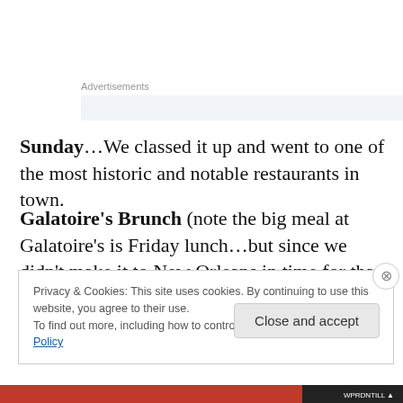Advertisements
Sunday…We classed it up and went to one of the most historic and notable restaurants in town.
Galatoire's Brunch (note the big meal at Galatoire's is Friday lunch…but since we didn't make it to New Orleans in time for that, Sunday brunch would have to do)
Privacy & Cookies: This site uses cookies. By continuing to use this website, you agree to their use.
To find out more, including how to control cookies, see here: Cookie Policy
Close and accept